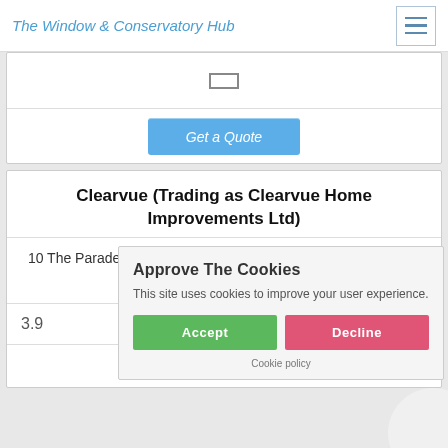The Window & Conservatory Hub
[Figure (screenshot): Top card partial view with rectangle icon and Get a Quote button]
Clearvue (Trading as Clearvue Home Improvements Ltd)
10 The Parade, Brighton Road, Burgh Heath, Tadworth, Surrey, KT20 6AT
3.9
[Figure (other): Five empty star rating icons]
Approve The Cookies
This site uses cookies to improve your user experience.
Cookie policy